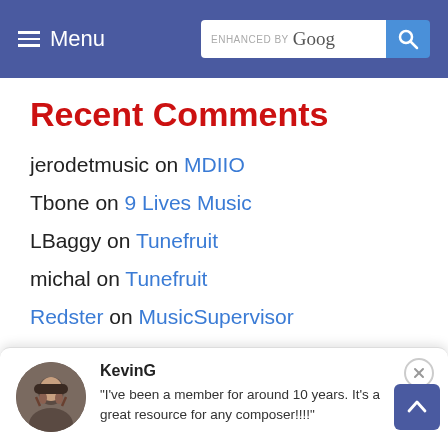Menu | ENHANCED BY Google [search]
Recent Comments
jerodetmusic on MDIIO
Tbone on 9 Lives Music
LBaggy on Tunefruit
michal on Tunefruit
Redster on MusicSupervisor
Redster on MusicSupervisor
Redster on MusicSupervisor
KevinG — "I've been a member for around 10 years. It's a great resource for any composer!!!!"